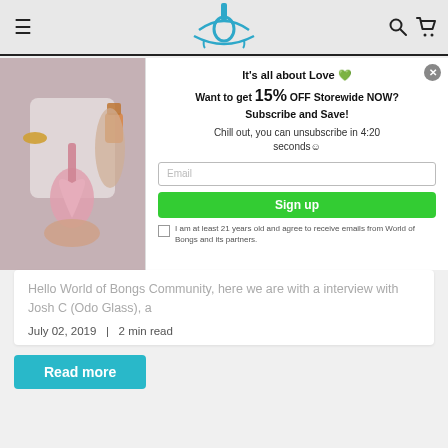World of Bongs — site header with hamburger menu, logo, search and cart icons
[Figure (photo): Photo of a person holding a pink heart-shaped glass bong with a lighter, shown in the modal overlay left side]
It's all about Love 🖤
Want to get 15% OFF Storewide NOW? Subscribe and Save!
Chill out, you can unsubscribe in 4:20 seconds 😊
Email
Sign up
I am at least 21 years old and agree to receive emails from World of Bongs and its partners.
Hello World of Bongs Community, here we are with a interview with Josh C (Odo Glass), a
July 02, 2019  |  2 min read
Read more